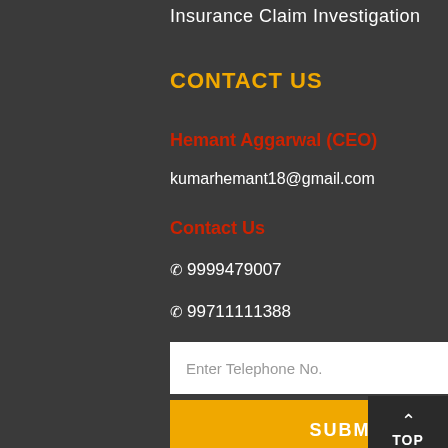Insurance Claim Investigation
CONTACT US
Hemant Aggarwal (CEO)
kumarhemant18@gmail.com
Contact Us
9999479007
99711111388
Enter Telephone No.
SUBMIT